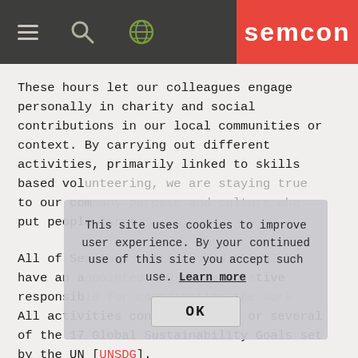semcon
These hours let our colleagues engage personally in charity and social contributions in our local communities or context. By carrying out different activities, primarily linked to skills based volunteering, we are staying true to our company purpose and culture who put people first.
This site uses cookies to improve user experience. By your continued use of this site you accept such use. Learn more  OK
All of Semcon's sites around the globe have an appointed CSR-representative responsible for coordinating the work. All activities connects to one or several of the 17 Global Sustainability Goals set by the UN [UNSDG].